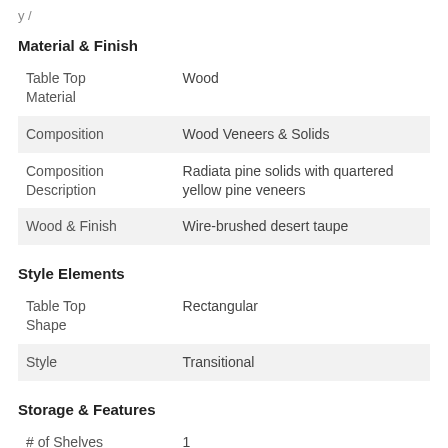Material & Finish
| Table Top Material | Wood |
| Composition | Wood Veneers & Solids |
| Composition Description | Radiata pine solids with quartered yellow pine veneers |
| Wood & Finish | Wire-brushed desert taupe |
Style Elements
| Table Top Shape | Rectangular |
| Style | Transitional |
Storage & Features
| # of Shelves | 1 |